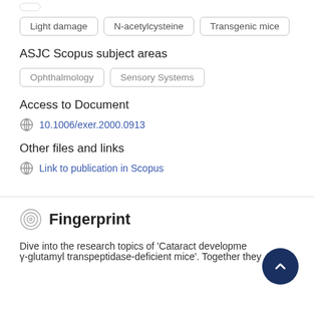Light damage
N-acetylcysteine
Transgenic mice
ASJC Scopus subject areas
Ophthalmology
Sensory Systems
Access to Document
10.1006/exer.2000.0913
Other files and links
Link to publication in Scopus
Fingerprint
Dive into the research topics of 'Cataract development in γ-glutamyl transpeptidase-deficient mice'. Together they